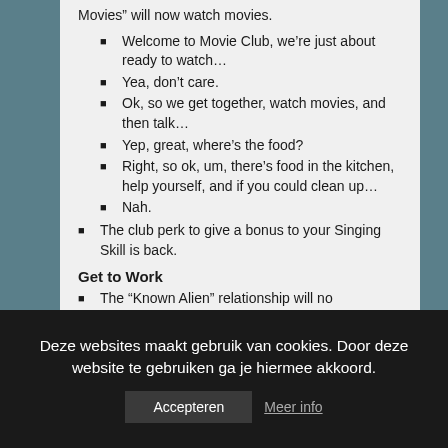Movies” will now watch movies.
Welcome to Movie Club, we’re just about ready to watch…
Yea, don’t care.
Ok, so we get together, watch movies, and then talk…
Yep, great, where’s the food?
Right, so ok, um, there’s food in the kitchen, help yourself, and if you could clean up…
Nah.
The club perk to give a bonus to your Singing Skill is back.
Get to Work
The “Known Alien” relationship will no
Deze websites maakt gebruik van cookies. Door deze website te gebruiken ga je hiermee akkoord.
Accepteren   Meer info